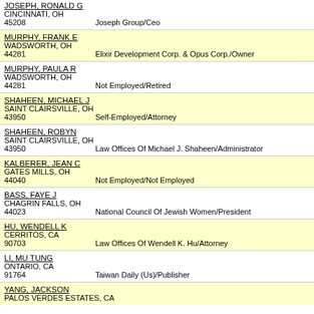JOSEPH, RONALD G
CINCINNATI, OH
45208	Joseph Group/Ceo
MURPHY, FRANK E
WADSWORTH, OH
44281	Elixir Development Corp. & Opus Corp./Owner
MURPHY, PAULA R
WADSWORTH, OH
44281	Not Employed/Retired
SHAHEEN, MICHAEL J
SAINT CLAIRSVILLE, OH
43950	Self-Employed/Attorney
SHAHEEN, ROBYN
SAINT CLAIRSVILLE, OH
43950	Law Offices Of Michael J. Shaheen/Administrator
KALBERER, JEAN C
GATES MILLS, OH
44040	Not Employed/Not Employed
BASS, FAYE J
CHAGRIN FALLS, OH
44023	National Council Of Jewish Women/President
HU, WENDELL K
CERRITOS, CA
90703	Law Offices Of Wendell K. Hu/Attorney
LI, MU TUNG
ONTARIO, CA
91764	Taiwan Daily (Us)/Publisher
YANG, JACKSON
PALOS VERDES ESTATES, CA